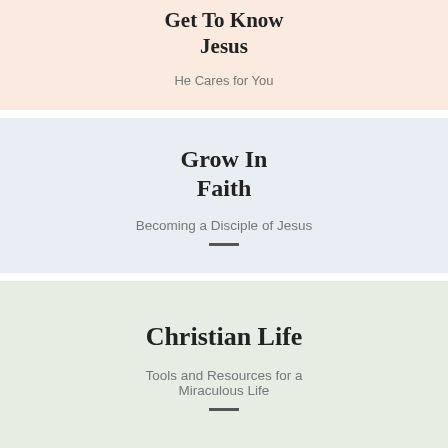Get To Know Jesus
He Cares for You
Grow In Faith
Becoming a Disciple of Jesus
Christian Life
Tools and Resources for a Miraculous Life
[Figure (photo): Blue sky with clouds, partial view at bottom of page]